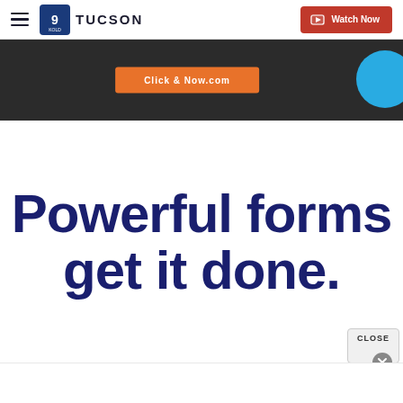≡  9 TUCSON  |  Watch Now
[Figure (screenshot): Ad banner strip with dark background, orange 'Click & Now.com' button and blue circle element on right]
Powerful forms get it done.
[Figure (screenshot): Close button overlay in bottom-right corner with 'CLOSE' text and X dismiss button]